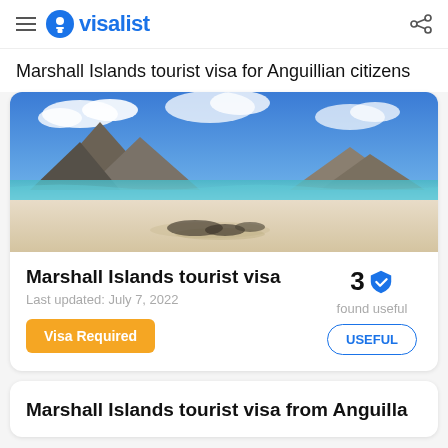visalist
Marshall Islands tourist visa for Anguillian citizens
[Figure (photo): Beach scene with rocky mountains in background, white sand, turquoise water and blue sky with clouds]
Marshall Islands tourist visa
Last updated: July 7, 2022
Visa Required
3 found useful
USEFUL
Marshall Islands tourist visa from Anguilla